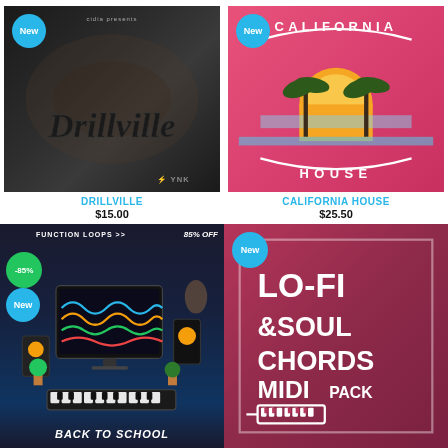[Figure (photo): Drillville music sample pack cover with dark background and stylized script text, YNK Audio logo, New badge]
DRILLVILLE
$15.00
[Figure (photo): California House music sample pack cover with pink/coral background, palm trees, sunset, New badge]
CALIFORNIA HOUSE
$25.50
[Figure (photo): Back to School music pack by Function Loops, 85% OFF, -85% badge, New badge, studio setup photo]
[Figure (photo): Lo-Fi & Soul Chords MIDI Pack cover with dark pink/maroon background, New badge]